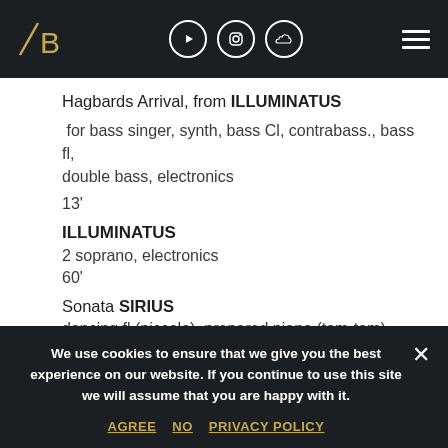AB [logo] — navigation bar with YouTube, Instagram, SoundCloud icons and hamburger menu
Hagbards Arrival, from ILLUMINATUS
for bass singer, synth, bass Cl, contrabass., bass fl, double bass, electronics
13'
ILLUMINATUS
2 soprano, electronics
60'
Sonata SIRIUS
dancing fl (piccolo), prepared piano (tam-tam), electronics
We use cookies to ensure that we give you the best experience on our website. If you continue to use this site we will assume that you are happy with it.
AGREE  NO  PRIVACY POLICY